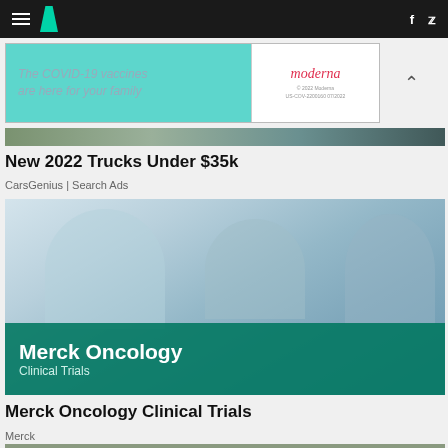HuffPost navigation bar with logo, hamburger menu, Facebook and Twitter icons
[Figure (photo): Moderna COVID-19 vaccine advertisement banner: teal/cyan background with text 'The COVID-19 vaccines are here for your family', Moderna logo on white panel with small copyright text '© 2022 Moderna US-COV-2200160 07/2022']
New 2022 Trucks Under $35k
CarsGenius | Search Ads
[Figure (photo): Medical professionals in scrubs and white coats walking together in a clinical setting, overlaid with 'Merck Oncology Clinical Trials' banner in teal/green]
Merck Oncology Clinical Trials
Merck